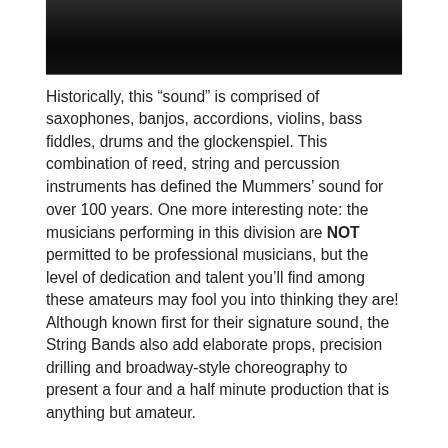[Figure (photo): Dark/black photograph at the top of the page, showing a dimly lit scene, mostly black with some dark gray tones at the top.]
Historically, this “sound” is comprised of saxophones, banjos, accordions, violins, bass fiddles, drums and the glockenspiel. This combination of reed, string and percussion instruments has defined the Mummers’ sound for over 100 years. One more interesting note: the musicians performing in this division are NOT permitted to be professional musicians, but the level of dedication and talent you’ll find among these amateurs may fool you into thinking they are! Although known first for their signature sound, the String Bands also add elaborate props, precision drilling and broadway-style choreography to present a four and a half minute production that is anything but amateur.